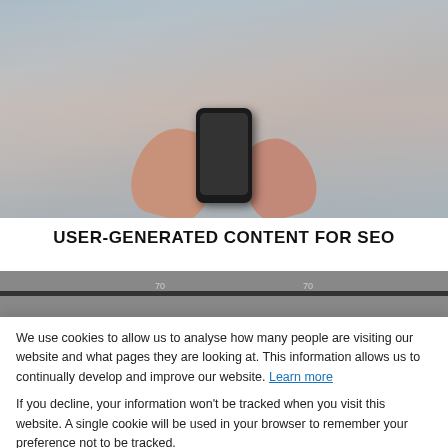[Figure (photo): Person holding a smartphone, wearing a grey sweater, close-up of hands]
USER-GENERATED CONTENT FOR SEO
[Figure (screenshot): Partial screenshot of a webpage with a horizontal scrollbar showing values 70 on left and 70 on right]
We use cookies to allow us to analyse how many people are visiting our website and what pages they are looking at. This information allows us to continually develop and improve our website. Learn more
If you decline, your information won't be tracked when you visit this website. A single cookie will be used in your browser to remember your preference not to be tracked.
Accept
Decline